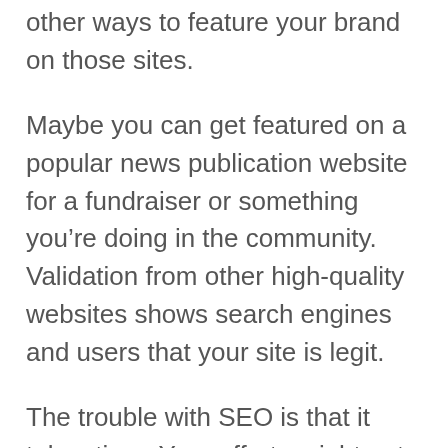other ways to feature your brand on those sites.
Maybe you can get featured on a popular news publication website for a fundraiser or something you’re doing in the community. Validation from other high-quality websites shows search engines and users that your site is legit.
The trouble with SEO is that it takes time. Your efforts might not generate results for several months or longer.
SEO is an ongoing process. Just because